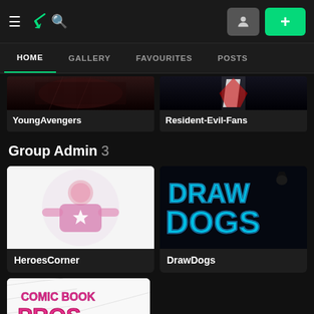DeviantArt navigation bar with hamburger menu, DA logo, search icon, user icon, and plus button
HOME | GALLERY | FAVOURITES | POSTS
[Figure (screenshot): YoungAvengers group card with dark image thumbnail]
YoungAvengers
[Figure (screenshot): Resident-Evil-Fans group card with dark image thumbnail]
Resident-Evil-Fans
Group Admin 3
[Figure (screenshot): HeroesCorner group card with pink/red superhero image]
HeroesCorner
[Figure (screenshot): DrawDogs group card with blue neon text logo on black]
DrawDogs
[Figure (screenshot): Comic Book Pros group card with pink logo text on white/sketch background]